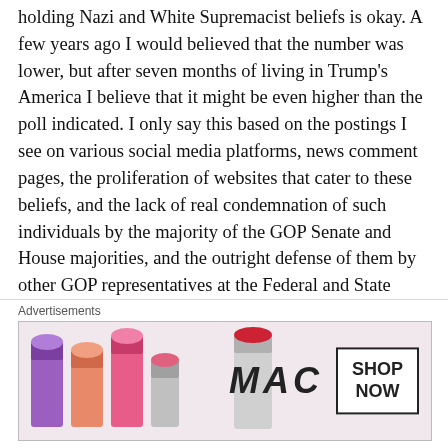holding Nazi and White Supremacist beliefs is okay. A few years ago I would believed that the number was lower, but after seven months of living in Trump's America I believe that it might be even higher than the poll indicated. I only say this based on the postings I see on various social media platforms, news comment pages, the proliferation of websites that cater to these beliefs, and the lack of real condemnation of such individuals by the majority of the GOP Senate and House majorities, and the outright defense of them by other GOP representatives at the Federal and State level. These people have not learned the lessons of the Holocaust, nor American slavery.

Again I don't believe that the majority of these people are
Advertisements
[Figure (photo): MAC Cosmetics advertisement banner showing colorful lipsticks (purple, peach, pink, red) on the left, the MAC logo in italic text in the center, and a 'SHOP NOW' box on the right.]